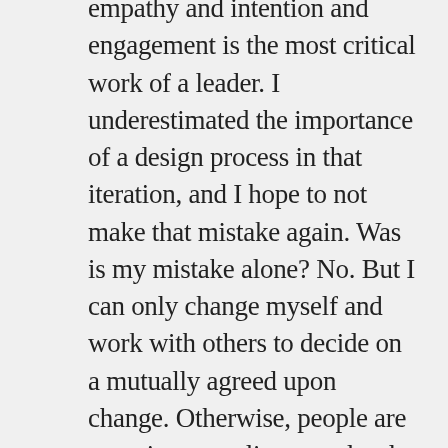empathy and intention and engagement is the most critical work of a leader. I underestimated the importance of a design process in that iteration, and I hope to not make that mistake again. Was is my mistake alone? No. But I can only change myself and work with others to decide on a mutually agreed upon change. Otherwise, people are pursuing compliance and order rather than commitment and ownership. So, I do take the responsibility that is my own. To place that on others in such a blog post would be exercising a tactic that I am not comfortable with in this setting.
As for more about my own home… my wife and I decided to employ the architect. We